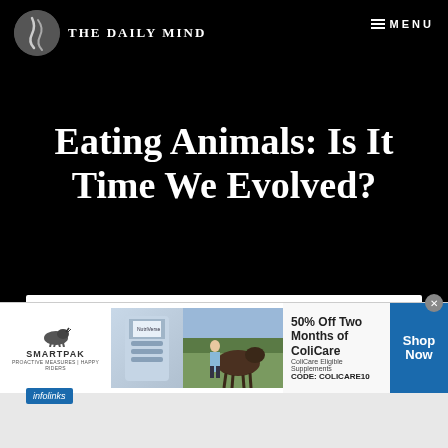THE DAILY MIND — MENU
Eating Animals: Is It Time We Evolved?
[Figure (screenshot): Screenshot of The Daily Mind website showing an article titled 'Eating Animals: Is It Time We Evolved?' with a black header, site logo, menu button, article title in large white serif font, and a partial view of a black-and-white mountain/forest landscape image below]
[Figure (photo): Black and white landscape photo showing mountains and dense coniferous forest]
[Figure (photo): SmartPak advertisement banner showing a horse supplement product with '50% Off Two Months of ColiCare' offer, ColiCare Eligible Supplements, CODE: COLICARE10, with Shop Now button]